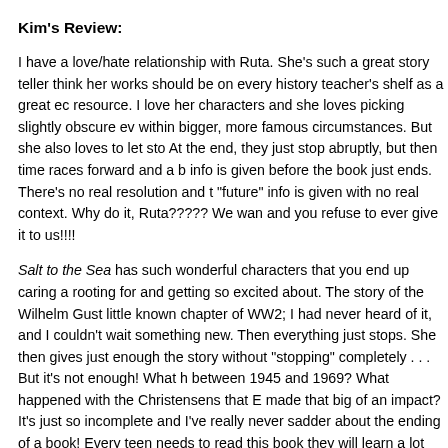Kim's Review:
I have a love/hate relationship with Ruta. She's such a great story teller think her works should be on every history teacher's shelf as a great resource. I love her characters and she loves picking slightly obscure within bigger, more famous circumstances. But she also loves to let sto At the end, they just stop abruptly, but then time races forward and a info is given before the book just ends. There's no real resolution and “future” info is given with no real context. Why do it, Ruta????? We war and you refuse to ever give it to us!!!!
Salt to the Sea has such wonderful characters that you end up caring a rooting for and getting so excited about. The story of the Wilhelm Gust little known chapter of WW2; I had never heard of it, and I couldn’t wai something new. Then everything just stops. She then gives just enough the story without “stopping” completely . . . But it’s not enough! What between 1945 and 1969? What happened with the Christensens that E made that big of an impact? It’s just so incomplete and I’ve really never sadder about the ending of a book! Every teen needs to read this book they will learn a lot from it. But, please, Ruta!! Please stop d… o